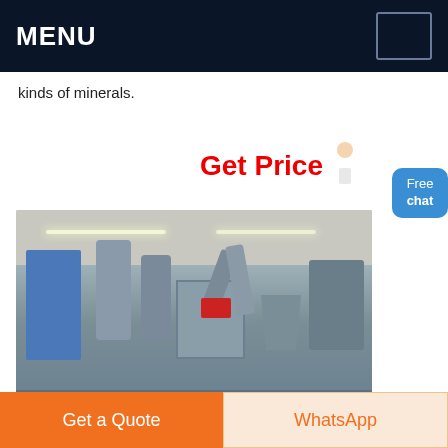MENU
kinds of minerals.
Get Price
[Figure (photo): Industrial mineral processing factory interior showing grinding machines, cylinders, pipes, and dust collection equipment in a large warehouse]
Free chat
Get a Quote
WhatsApp